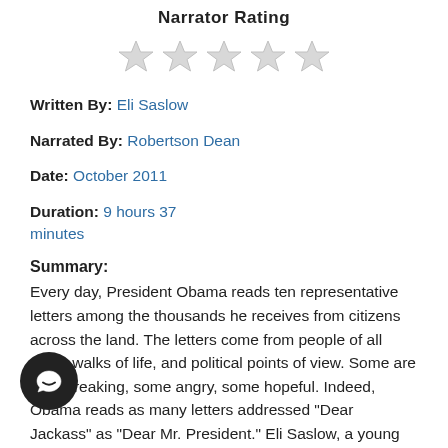Narrator Rating
[Figure (illustration): Five empty/unfilled star rating icons in a row]
Written By: Eli Saslow
Narrated By: Robertson Dean
Date: October 2011
Duration: 9 hours 37 minutes
Summary:
Every day, President Obama reads ten representative letters among the thousands he receives from citizens across the land. The letters come from people of all ages, walks of life, and political points of view. Some are heartbreaking, some angry, some hopeful. Indeed, Obama reads as many letters addressed "Dear Jackass" as "Dear Mr. President." Eli Saslow, a young and rising star at the Washington Post, became